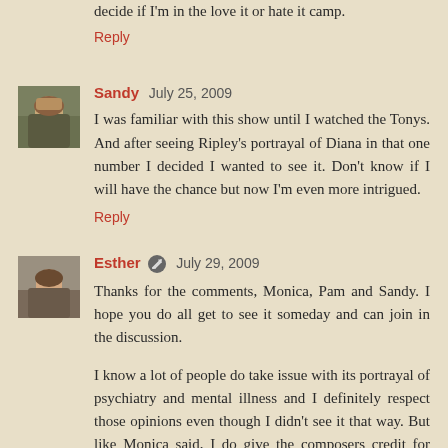decide if I'm in the love it or hate it camp.
Reply
Sandy  July 25, 2009
I was familiar with this show until I watched the Tonys. And after seeing Ripley's portrayal of Diana in that one number I decided I wanted to see it. Don't know if I will have the chance but now I'm even more intrigued.
Reply
[Figure (photo): Small avatar photo of Sandy, outdoor scene with stone architecture]
Esther  July 29, 2009
Thanks for the comments, Monica, Pam and Sandy. I hope you do all get to see it someday and can join in the discussion.
I know a lot of people do take issue with its portrayal of psychiatry and mental illness and I definitely respect those opinions even though I didn't see it that way. But like Monica said, I do give the composers credit for tackling
[Figure (photo): Small avatar photo of Esther, person in light background]